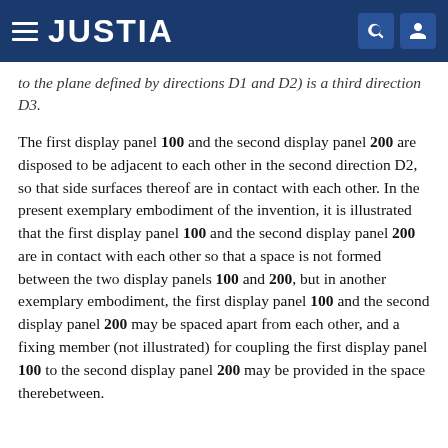JUSTIA
to the plane defined by directions D1 and D2) is a third direction D3.
The first display panel 100 and the second display panel 200 are disposed to be adjacent to each other in the second direction D2, so that side surfaces thereof are in contact with each other. In the present exemplary embodiment of the invention, it is illustrated that the first display panel 100 and the second display panel 200 are in contact with each other so that a space is not formed between the two display panels 100 and 200, but in another exemplary embodiment, the first display panel 100 and the second display panel 200 may be spaced apart from each other, and a fixing member (not illustrated) for coupling the first display panel 100 to the second display panel 200 may be provided in the space therebetween.